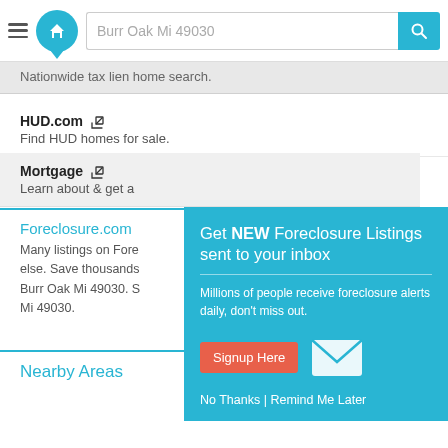Burr Oak Mi 49030
Nationwide tax lien home search.
HUD.com
Find HUD homes for sale.
Mortgage
Learn about & get a
Foreclosure.com
Many listings on Fore else. Save thousands Burr Oak Mi 49030. S Mi 49030.
[Figure (infographic): Popup modal with teal background: 'Get NEW Foreclosure Listings sent to your inbox'. Subtitle: 'Millions of people receive foreclosure alerts daily, don't miss out.' Red signup button labeled 'Signup Here', envelope icon, and links 'No Thanks | Remind Me Later']
Nearby Areas